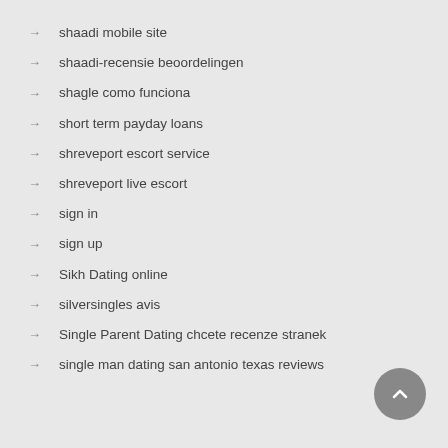shaadi mobile site
shaadi-recensie beoordelingen
shagle como funciona
short term payday loans
shreveport escort service
shreveport live escort
sign in
sign up
Sikh Dating online
silversingles avis
Single Parent Dating chcete recenze stranek
single man dating san antonio texas reviews